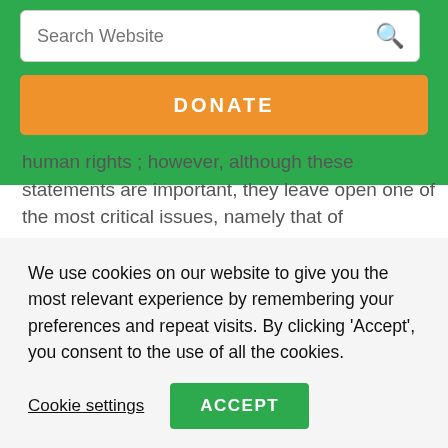Search Website
DONATE
human rights ; however, although these statements are important, they leave open one of the most critical issues, namely that of determining the circumstances under which forced evictions are permissible and of spelling out the types of protection required to ensure respect for the relevant provisions of the Covenant.
3. The use of the term “forced evictions” is, in some respects, problematic. This expression seeks to convey a
We use cookies on our website to give you the most relevant experience by remembering your preferences and repeat visits. By clicking 'Accept', you consent to the use of all the cookies.
Cookie settings
ACCEPT